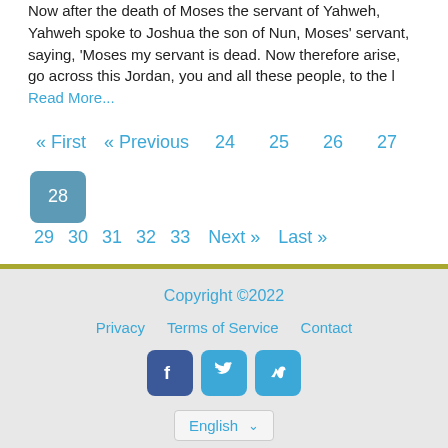Now after the death of Moses the servant of Yahweh, Yahweh spoke to Joshua the son of Nun, Moses' servant, saying, 'Moses my servant is dead. Now therefore arise, go across this Jordan, you and all these people, to the l Read More...
« First « Previous 24 25 26 27 28 29 30 31 32 33 Next » Last »
Copyright ©2022 Privacy Terms of Service Contact English